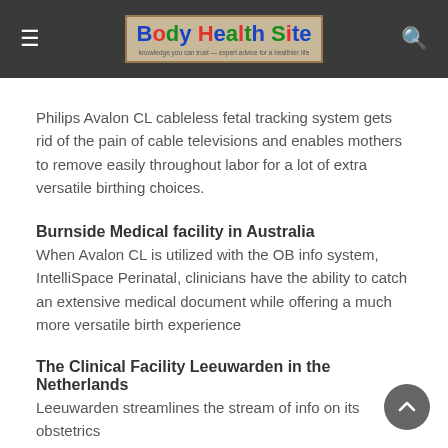Body Health Site
Philips Avalon CL cableless fetal tracking system gets rid of the pain of cable televisions and enables mothers to remove easily throughout labor for a lot of extra versatile birthing choices.
Burnside Medical facility in Australia
When Avalon CL is utilized with the OB info system, IntelliSpace Perinatal, clinicians have the ability to catch an extensive medical document while offering a much more versatile birth experience
The Clinical Facility Leeuwarden in the Netherlands
Leeuwarden streamlines the stream of info on its obstetrics